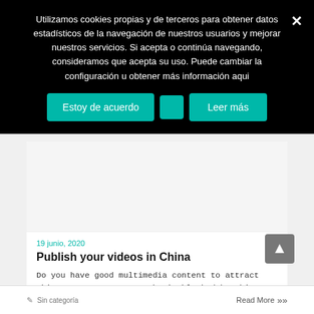Utilizamos cookies propias y de terceros para obtener datos estadísticos de la navegación de nuestros usuarios y mejorar nuestros servicios. Si acepta o continúa navegando, consideramos que acepta su uso. Puede cambiar la configuración u obtener más información aqui
Estoy de acuerdo
Leer más
[Figure (other): Article image placeholder area (gray/white rectangle)]
19 junio, 2020
Publish your videos in China
Do you have good multimedia content to attract Chinese consumers? YouTube is blocked by Chinese Firewall. So if for example you have YouTube videos embedded into your ...
Sin categoría
Read More